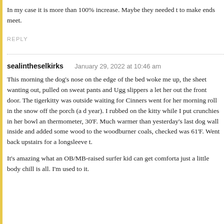In my case it is more than 100% increase. Maybe they needed to make ends meet.
REPLY
sealintheselkirks   January 29, 2022 at 10:46 am
This morning the dog's nose on the edge of the bed woke me up, the sheet wanting out, pulled on sweat pants and Ugg slippers and let her out the front door. The tigerkitty was outside waiting for Cinners went for her morning roll in the snow off the porch (a d year). I rubbed on the kitty while I put crunchies in her bowl and thermometer, 30'F. Much warmer than yesterday's last dog wall inside and added some wood to the woodburner coals, checked was 61'F. Went back upstairs for a longsleeve t.
It's amazing what an OB/MB-raised surfer kid can get comforta just a little body chill is all. I'm used to it.